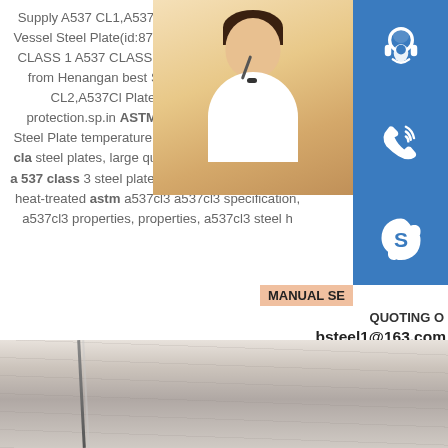Supply A537 CL1,A537 CL2,A537CL3,Pressure Vessel Steel Plate(id:8760426),View quality A537 CLASS 1 A537 CLASS 2,A537 CLASS 3 details from Henangang best Supply A537 CL1,A537 CL2,A537CL Plate with escrow buyer protection.sp.in ASTM A537 Class 3 Carbon Steel Plates temperature range, carbon steel a537 cla steel plates, large quantity a537cl3 stee astm a 537 class 3 steel plate exporter in a537cl3 yield, heat-treated astm a537cl3 a537cl3 specification, a537cl3 properties, properties, a537cl3 steel h
[Figure (photo): Customer service representative (woman with headset) overlaid with blue icon boxes for headset, phone, and Skype contact options. Email address bsteel1@163.com shown. Text MANUAL SE and QUOTING O visible.]
[Figure (photo): READ MORE button in muted green color]
[Figure (photo): Steel plate photo showing grey metallic surface with angular edges in bottom portion of page]